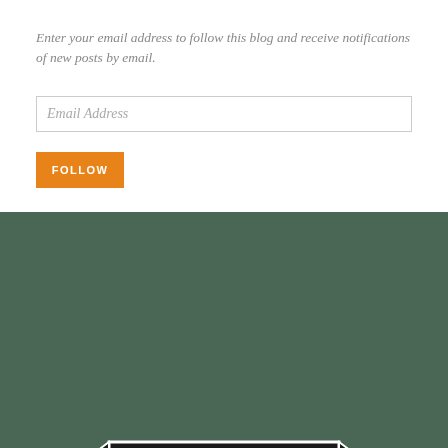Enter your email address to follow this blog and receive notifications of new posts by email.
Email Address
FOLLOW
[Figure (logo): Internet Defense League badge: black shield shape with white text 'Proud member of THE INTERNET DEFENSE LEAGUE • EST 2012 •' on dark green background]